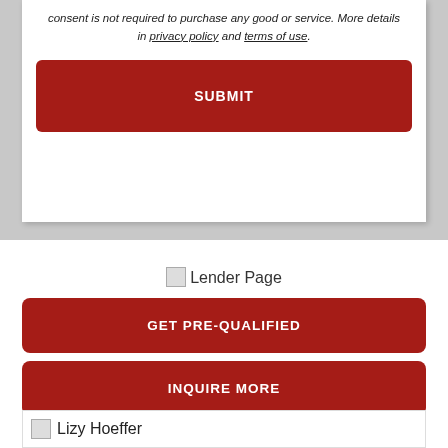consent is not required to purchase any good or service. More details in privacy policy and terms of use.
SUBMIT
[Figure (screenshot): Lender Page image placeholder]
GET PRE-QUALIFIED
INQUIRE MORE
Lizy Hoeffer